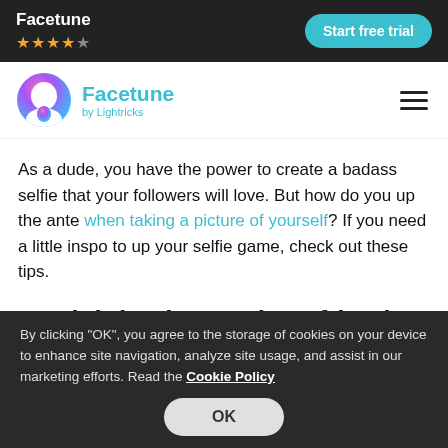Facetune ★★★★☆ | Start free trial
[Figure (logo): Facetune app logo — circular icon with pink/purple/blue gradient and white face silhouette]
Facetune by Lightricks
As a dude, you have the power to create a badass selfie that your followers will love. But how do you up the ante when taking a picture of yourself? If you need a little inspo to up your selfie game, check out these tips.
1 - Lighting is your best friend
By clicking "OK", you agree to the storage of cookies on your device to enhance site navigation, analyze site usage, and assist in our marketing efforts. Read the Cookie Policy